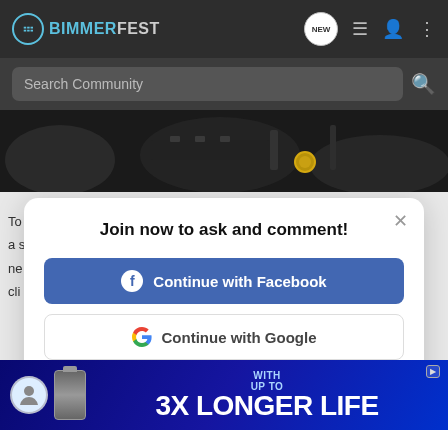BIMMERFEST — navigation bar with logo, NEW, list, user, and menu icons
Search Community
[Figure (photo): Close-up photo of a car engine bay with dark metallic components and a gold/brass colored fitting visible]
Join now to ask and comment!
Continue with Facebook
Continue with Google
or sign up with email
[Figure (photo): Advertisement banner showing battery product with text WITH UP TO 3X LONGER LIFE]